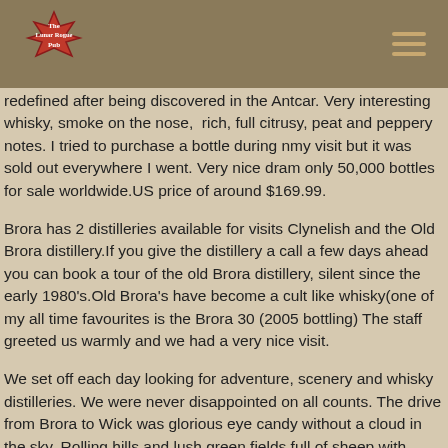The Lunar Rogue Pub
redefined after being discovered in the Antcar. Very interesting whisky, smoke on the nose, rich, full citrusy, peat and peppery notes. I tried to purchase a bottle during nmy visit but it was sold out everywhere I went. Very nice dram only 50,000 bottles for sale worldwide.US price of around $169.99.
Brora has 2 distilleries available for visits Clynelish and the Old Brora distillery.If you give the distillery a call a few days ahead you can book a tour of the old Brora distillery, silent since the early 1980's.Old Brora's have become a cult like whisky(one of my all time favourites is the Brora 30 (2005 bottling) The staff greeted us warmly and we had a very nice visit.
We set off each day looking for adventure, scenery and whisky distilleries. We were never disappointed on all counts. The drive from Brora to Wick was glorious eye candy without a cloud in the sky. Rolling hills and lush green fields full of sheep with young lambs. Large numbers of wind farms, always on the horizon, gently turning in the